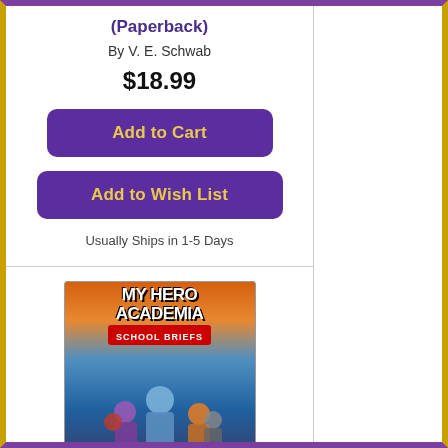(Paperback)
By V. E. Schwab
$18.99
Add to Cart
Add to Wish List
Usually Ships in 1-5 Days
[Figure (illustration): Book cover of My Hero Academia: School Briefs, Vol. 5 showing manga-style characters on an orange and blue gradient background with the title in bold text and volume number 5]
My Hero Academia: School Briefs, Vol. 5 (Paperback)